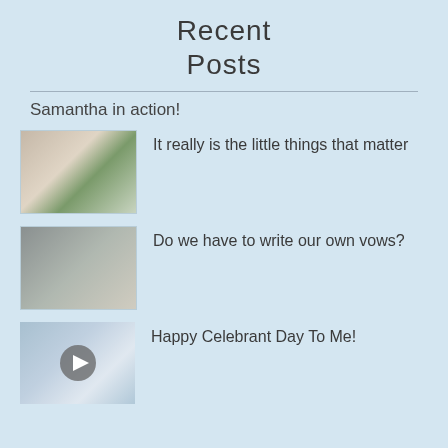Recent Posts
Samantha in action!
[Figure (photo): Wedding photo with flower girl and bridal party outdoors on green grass]
It really is the little things that matter
[Figure (photo): Sepia-toned photo of couple with confetti or bokeh effect]
Do we have to write our own vows?
[Figure (photo): Video thumbnail with play button showing colorful party banner decorations]
Happy Celebrant Day To Me!